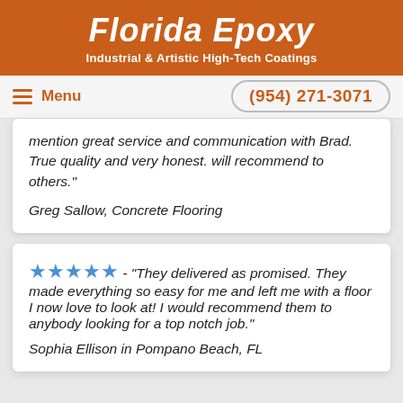Florida Epoxy
Industrial & Artistic High-Tech Coatings
Menu  (954) 271-3071
mention great service and communication with Brad. True quality and very honest. will recommend to others."
Greg Sallow, Concrete Flooring
★★★★★ - "They delivered as promised. They made everything so easy for me and left me with a floor I now love to look at! I would recommend them to anybody looking for a top notch job."
Sophia Ellison in Pompano Beach, FL